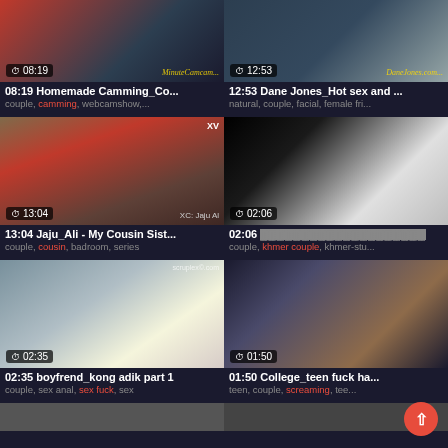[Figure (screenshot): Video thumbnail grid showing 6 video cards in 2-column layout with titles, durations, and tags]
08:19 Homemade Camming_Co...
couple, camming, webcamshow,...
12:53 Dane Jones_Hot sex and ...
natural, couple, facial, female fri...
13:04 Jaju_Ali - My Cousin Sist...
couple, cousin, badroom, series
02:06 ████████████████████
couple, khmer couple, khmer-stu...
02:35 boyfrend_kong adik part 1
couple, sex anal, sex fuck, sex
01:50 College_teen fuck ha...
teen, couple, screaming, tee...